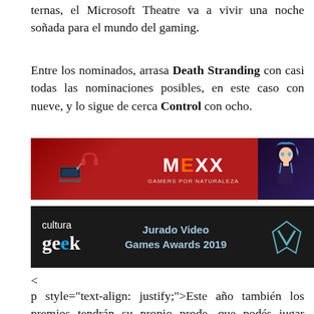ternas, el Microsoft Theatre va a vivir una noche soñada para el mundo del gaming.
Entre los nominados, arrasa Death Stranding con casi todas las nominaciones posibles, en este caso con nueve, y lo sigue de cerca Control con ocho.
[Figure (illustration): MEXX Gamers por Naturaleza advertisement banner with red background, gaming headset and laptop on left, anime character on right]
[Figure (illustration): Cultura Geek - Jurado Video Games Awards 2019 dark banner with logo and decorative V symbol]
<
p style="text-align: justify;">Este año también los premios tendrán su propio prode, que podés jugar votando desde las redes o también en Google desde